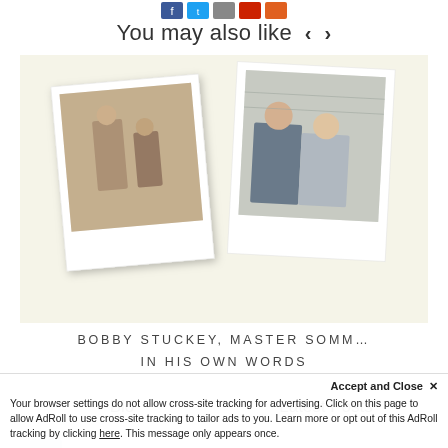[Figure (illustration): Social media share icons (Facebook blue, Twitter blue, grey, red, orange) at top of page]
You may also like  ‹  ›
[Figure (photo): Two Polaroid-style photos on a cream/beige background. Left polaroid: a person in a kitchen or restaurant setting. Right polaroid: two men in business attire smiling.]
BOBBY STUCKEY, MASTER SOMM… IN HIS OWN WORDS
Bio    Latest Posts
[Figure (screenshot): Partial screenshot of a social media or website widget showing Wine Awesomeness brand with bird icon]
Accept and Close ✕
Your browser settings do not allow cross-site tracking for advertising. Click on this page to allow AdRoll to use cross-site tracking to tailor ads to you. Learn more or opt out of this AdRoll tracking by clicking here. This message only appears once.